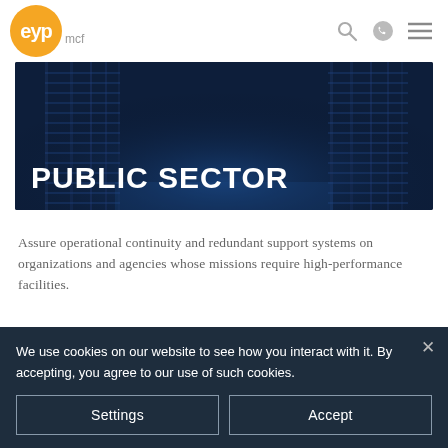[Figure (logo): EYP MCF logo — orange circle with white 'eyp' text, gray 'mcf' text to the right]
[Figure (photo): Hero banner image of dark data center server room with blue lighting, overlaid with large white text 'PUBLIC SECTOR']
PUBLIC SECTOR
Assure operational continuity and redundant support systems on organizations and agencies whose missions require high-performance facilities.
[Figure (screenshot): Dark navy panel with 'Description' button and a second button outline below]
We use cookies on our website to see how you interact with it. By accepting, you agree to our use of such cookies.